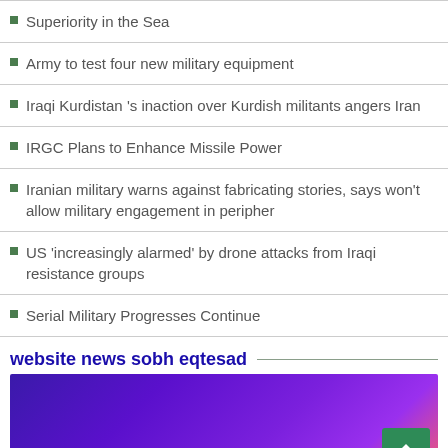Superiority in the Sea
Army to test four new military equipment
Iraqi Kurdistan 's inaction over Kurdish militants angers Iran
IRGC Plans to Enhance Missile Power
Iranian military warns against fabricating stories, says won't allow military engagement in peripher
US 'increasingly alarmed' by drone attacks from Iraqi resistance groups
Serial Military Progresses Continue
website news sobh eqtesad
[Figure (photo): Blue-purple gradient image banner with a green scroll-to-top button in the bottom right corner]